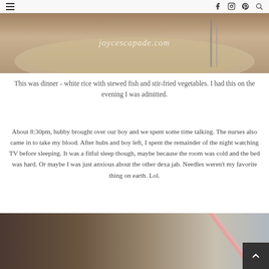navigation header with hamburger menu and social icons (Facebook, Instagram, Pinterest, Search)
[Figure (photo): Close-up photo of food (white rice with stewed fish and stir-fried vegetables) with joycescapade.com watermark]
This was dinner - white rice with stewed fish and stir-fried vegetables. I had this on the evening I was admitted.
About 8:30pm, hubby brought over our boy and we spent some time talking. The nurses also came in to take my blood. After hubs and boy left, I spent the remainder of the night watching TV before sleeping. It was a fitful sleep though, maybe because the room was cold and the bed was hard. Or maybe I was just anxious about the other dexa jab. Needles weren't my favorite thing on earth. Lol.
[Figure (photo): Photo showing a medical/hospital setting with a bed or surface, partial view with a pink tube or cord visible, back-to-top button overlay]